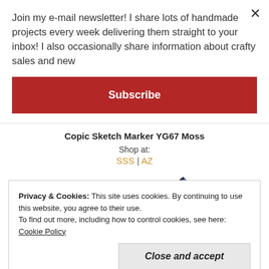Join my e-mail newsletter! I share lots of handmade projects every week delivering them straight to your inbox! I also occasionally share information about crafty sales and new
Subscribe
[Figure (other): Green color swatch rectangle for Copic Sketch Marker YG67 Moss]
Copic Sketch Marker YG67 Moss
Shop at:
SSS | AZ
[Figure (illustration): Copic sketch marker pen illustration, angled view]
Privacy & Cookies: This site uses cookies. By continuing to use this website, you agree to their use.
To find out more, including how to control cookies, see here: Cookie Policy
Close and accept